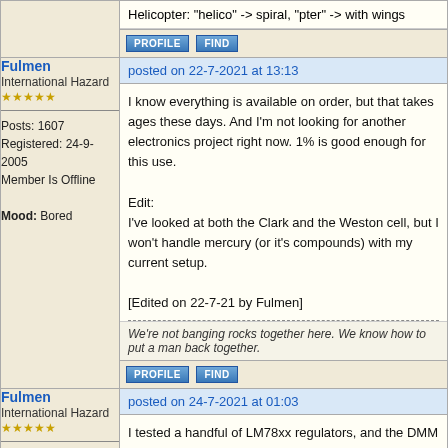Helicopter: "helico" -> spiral, "pter" -> with wings
PROFILE  FIND
Fulmen
International Hazard
★★★★★
Posts: 1607
Registered: 24-9-2005
Member Is Offline
Mood: Bored
posted on 22-7-2021 at 13:13
I know everything is available on order, but that takes ages these days. And I'm not looking for another electronics project right now. 1% is good enough for this use.

Edit:
I've looked at both the Clark and the Weston cell, but I won't handle mercury (or it's compounds) with my current setup.

[Edited on 22-7-21 by Fulmen]
We're not banging rocks together here. We know how to put a man back together.
PROFILE  FIND
Fulmen
International Hazard
★★★★★
posted on 24-7-2021 at 01:03
I tested a handful of LM78xx regulators, and the DMM reads 4